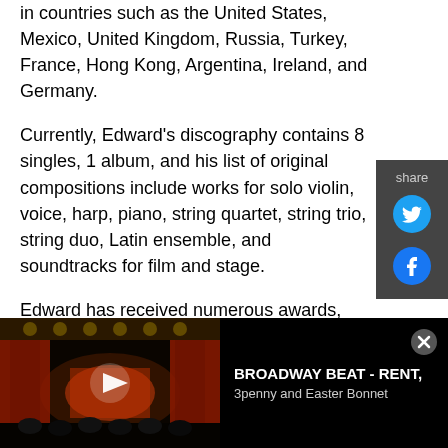in countries such as the United States, Mexico, United Kingdom, Russia, Turkey, France, Hong Kong, Argentina, Ireland, and Germany.
Currently, Edward's discography contains 8 singles, 1 album, and his list of original compositions include works for solo violin, voice, harp, piano, string quartet, string trio, string duo, Latin ensemble, and soundtracks for film and stage.
Edward has received numerous awards, most recently winning 1st Prize in the 2022 University of Northern Colorado Concerto Competition and 2nd Prize in the 2022 Angie Southard Performance Competition. Edward also has an extensive
[Figure (screenshot): Video player bar at bottom showing a Broadway theater interior with stage lighting and red curtains. Play button visible. Title reads BROADWAY BEAT - RENT, 3penny and Easter Bonnet with a close (X) button.]